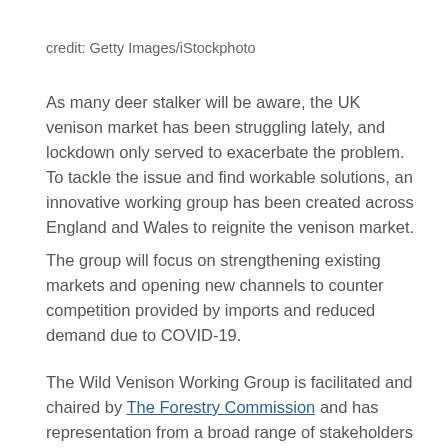credit: Getty Images/iStockphoto
As many deer stalker will be aware, the UK venison market has been struggling lately, and lockdown only served to exacerbate the problem. To tackle the issue and find workable solutions, an innovative working group has been created across England and Wales to reignite the venison market.
The group will focus on strengthening existing markets and opening new channels to counter competition provided by imports and reduced demand due to COVID-19.
The Wild Venison Working Group is facilitated and chaired by The Forestry Commission and has representation from a broad range of stakeholders